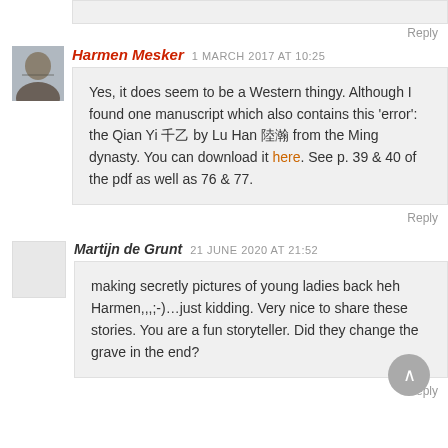Reply
Harmen Mesker   1 MARCH 2017 AT 10:25
Yes, it does seem to be a Western thingy. Although I found one manuscript which also contains this 'error': the Qian Yi 千乙 by Lu Han 陸瀚 from the Ming dynasty. You can download it here. See p. 39 & 40 of the pdf as well as 76 & 77.
Reply
Martijn de Grunt   21 JUNE 2020 AT 21:52
making secretly pictures of young ladies back heh Harmen,,,;-)…just kidding. Very nice to share these stories. You are a fun storyteller. Did they change the grave in the end?
Reply